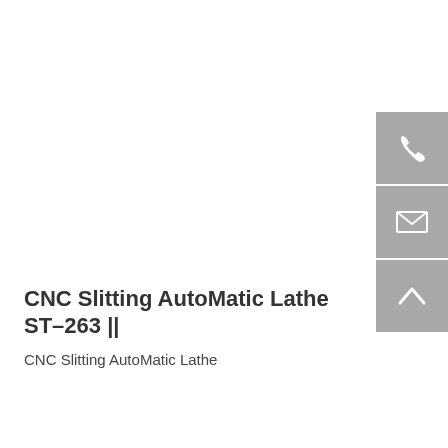[Figure (infographic): Sidebar with three grey square buttons showing phone, email, and up-arrow icons on the right side of the page]
CNC Slitting AutoMatic Lathe ST-263 II
CNC Slitting AutoMatic Lathe